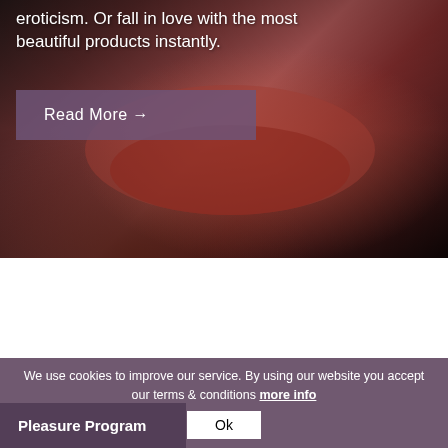eroticism. Or fall in love with the most beautiful products instantly.
Read More →
[Figure (photo): Close-up photo of woman's lips with dark red/burgundy lipstick against a dark background]
[Figure (photo): Black and white photo of two people in an intimate close moment, one wearing a white shirt and leather jacket]
We use cookies to improve our service. By using our website you accept our terms & conditions more info
Ok
Pleasure Program